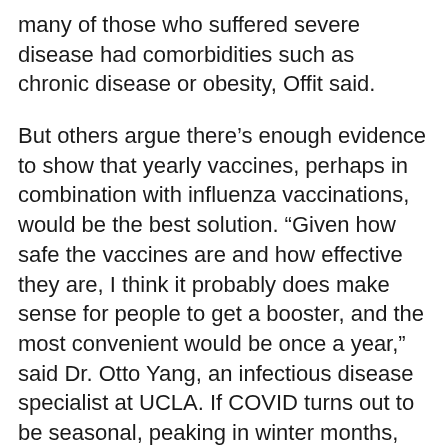many of those who suffered severe disease had comorbidities such as chronic disease or obesity, Offit said.
But others argue there’s enough evidence to show that yearly vaccines, perhaps in combination with influenza vaccinations, would be the best solution. “Given how safe the vaccines are and how effective they are, I think it probably does make sense for people to get a booster, and the most convenient would be once a year,” said Dr. Otto Yang, an infectious disease specialist at UCLA. If COVID turns out to be seasonal, peaking in winter months, vaccination in the fall would provide decent protection, he said.